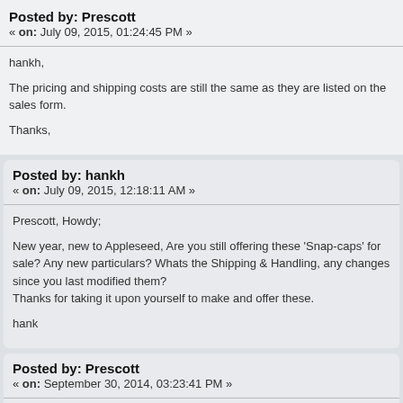Posted by: Prescott
« on: July 09, 2015, 01:24:45 PM »
hankh,

The pricing and shipping costs are still the same as they are listed on the sales form.

Thanks,
Posted by: hankh
« on: July 09, 2015, 12:18:11 AM »
Prescott, Howdy;

New year, new to Appleseed, Are you still offering these 'Snap-caps' for sale? Any new particulars? Whats the Shipping & Handling, any changes since you last modified them?
Thanks for taking it upon yourself to make and offer these.

hank
Posted by: Prescott
« on: September 30, 2014, 03:23:41 PM »
No, I am not set up to take Paypal. Sorry.